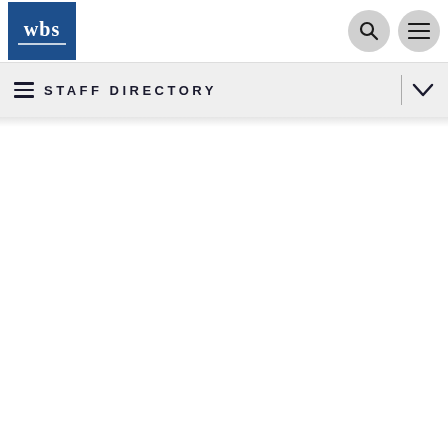[Figure (logo): WBS (Warwick Business School) logo — white text on dark blue square background]
STAFF DIRECTORY